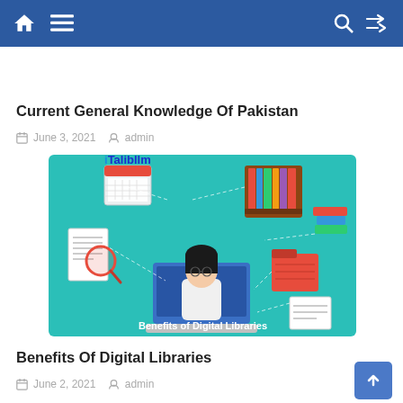Navigation bar with home, menu, search, and shuffle icons
Current General Knowledge Of Pakistan
June 3, 2021  admin
[Figure (illustration): Illustration showing Benefits of Digital Libraries: a person at a laptop surrounded by icons including a bookshelf, calendar, documents with magnifying glass, folder, and papers. Text reads 'Benefits of Digital Libraries'. Logo 'Talibllm' in top-left corner.]
Benefits Of Digital Libraries
June 2, 2021  admin